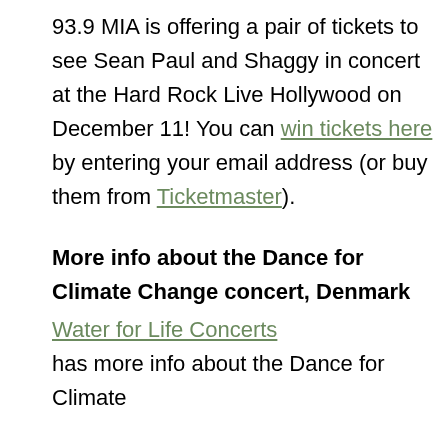93.9 MIA is offering a pair of tickets to see Sean Paul and Shaggy in concert at the Hard Rock Live Hollywood on December 11! You can win tickets here by entering your email address (or buy them from Ticketmaster).
More info about the Dance for Climate Change concert, Denmark
Water for Life Concerts has more info about the Dance for Climate